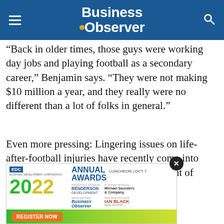Business Observer
“Back in older times, those guys were working day jobs and playing football as a secondary career,” Benjamin says. “They were not making $10 million a year, and they really were no different than a lot of folks in general.”
Even more pressing: Lingering issues on life-after-football injuries have recently come into focus through the NFL’s recent settlement of thousands of con… cost the lea… accor…
[Figure (advertisement): EDC Economic Development Corporation Annual Awards Luncheon 2022, Oct 7. Presenting sponsor: Benderson Development. Platinum sponsor: Michael Saunders & Company. Media partner: Business Observer. Program sponsor: Ian Black Real Estate. Register Now button.]